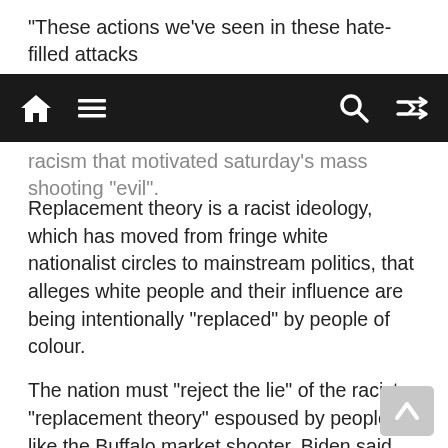“These actions we’ve seen in these hate-filled attacks
[navigation bar with home, menu, search, and shuffle icons]
racism that motivated saturday’s mass shooting “evil”.
Replacement theory is a racist ideology, which has moved from fringe white nationalist circles to mainstream politics, that alleges white people and their influence are being intentionally “replaced” by people of colour.
The nation must “reject the lie” of the racist “replacement theory” espoused by people like the Buffalo market shooter, Biden said.
Other gunmen motivated by white supremacy and replacement theory have been involved in mass shootings in Charleston, South Carolina, El Paso, Texas, and Pittsburgh, Pennsylvania.